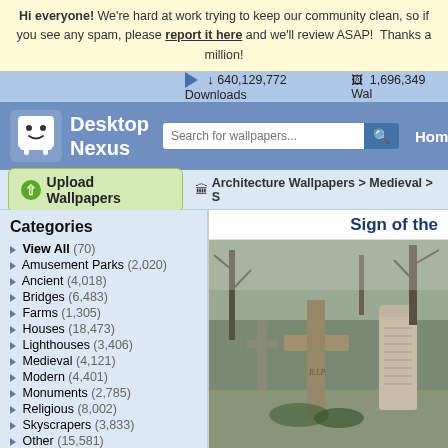Hi everyone! We're hard at work trying to keep our community clean, so if you see any spam, please report it here and we'll review ASAP! Thanks a million!
640,129,772 Downloads   1,696,349 Wal
[Figure (logo): Desktop Nexus logo with white ghost mascot and blue text]
Search for wallpapers...
Home
Upload Wallpapers
Architecture Wallpapers > Medieval > S
Categories
View All (70)
Amusement Parks (2,020)
Ancient (4,018)
Bridges (6,483)
Farms (1,305)
Houses (18,473)
Lighthouses (3,406)
Medieval (4,121)
Modern (4,401)
Monuments (2,785)
Religious (8,002)
Skyscrapers (3,833)
Other (15,581)
Sign of the
[Figure (photo): Photograph of stone cemetery cross with RIP inscription, surrounded by other gravestones and bare trees]